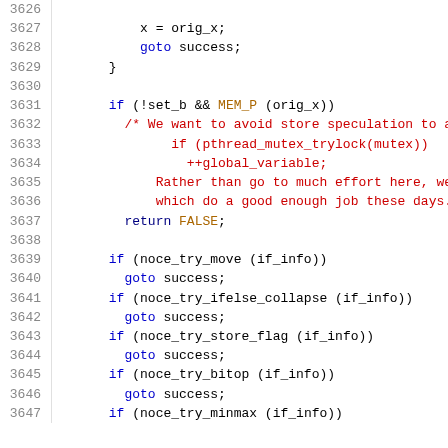[Figure (screenshot): Source code listing showing C code lines 3626-3647 with syntax highlighting. Line numbers in gray on left, code with color-coded keywords, comments in red, blue keywords, and black identifiers.]